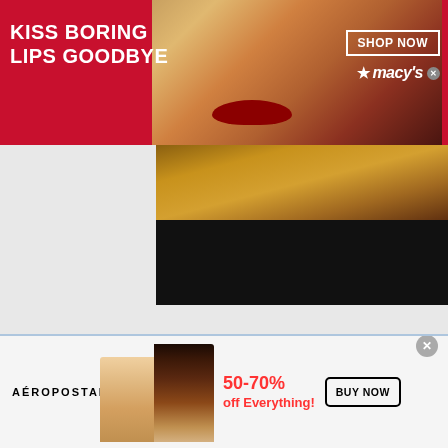[Figure (screenshot): Macy's advertisement banner with red background, model face, 'KISS BORING LIPS GOODBYE' text, 'SHOP NOW' button and Macy's star logo]
[Figure (photo): Partial photo of fashion model with gold and dark clothing, below the Macy's ad]
[Figure (screenshot): Black bar / video player area below the model photo]
ANÚNCIO:
[Figure (screenshot): Aéropostale advertisement banner with two models, '50-70% off Everything!' text in red, 'BUY NOW' button, and close X button]